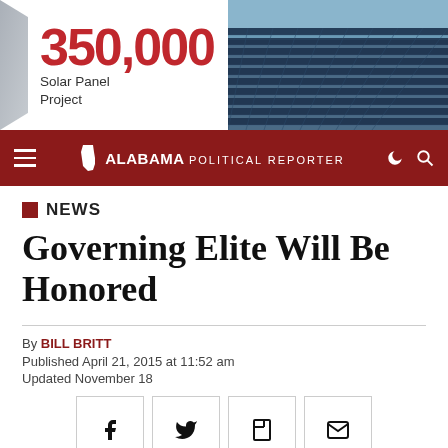[Figure (photo): Advertisement banner: 350,000 Solar Panel Project with aerial photo of solar panels on right side]
Alabama Political Reporter — navigation bar with hamburger menu and search
NEWS
Governing Elite Will Be Honored
By BILL BRITT
Published April 21, 2015 at 11:52 am
Updated November 18
[Figure (infographic): Social share buttons: Facebook, Twitter, Flipboard, Email]
[Figure (photo): Aerial or elevated photo of city skyline, partially cropped at bottom of page]